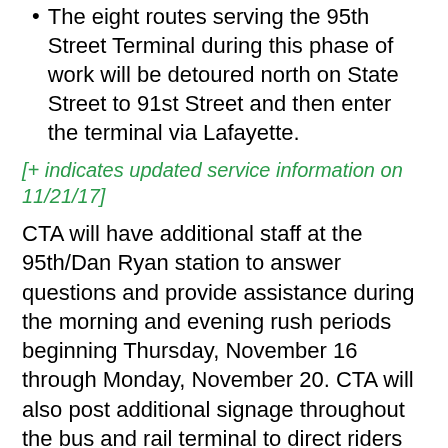The eight routes serving the 95th Street Terminal during this phase of work will be detoured north on State Street to 91st Street and then enter the terminal via Lafayette.
[+ indicates updated service information on 11/21/17]
CTA will have additional staff at the 95th/Dan Ryan station to answer questions and provide assistance during the morning and evening rush periods beginning Thursday, November 16 through Monday, November 20. CTA will also post additional signage throughout the bus and rail terminal to direct riders where to board buses.
For the latest information on the project, visit: http://www.transitchicago.com/95thTerminal/.